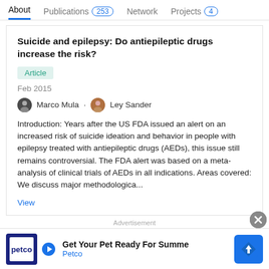About   Publications 253   Network   Projects 4
Suicide and epilepsy: Do antiepileptic drugs increase the risk?
Article
Feb 2015
Marco Mula · Ley Sander
Introduction: Years after the US FDA issued an alert on an increased risk of suicide ideation and behavior in people with epilepsy treated with antiepileptic drugs (AEDs), this issue still remains controversial. The FDA alert was based on a meta-analysis of clinical trials of AEDs in all indications. Areas covered: We discuss major methodologica...
View
Advertisement
Cognitive dysfunction in patients with epilepsy: Focus on...
[Figure (other): Petco advertisement banner: Get Your Pet Ready For Summer, Petco logo with blue diamond arrow icon]